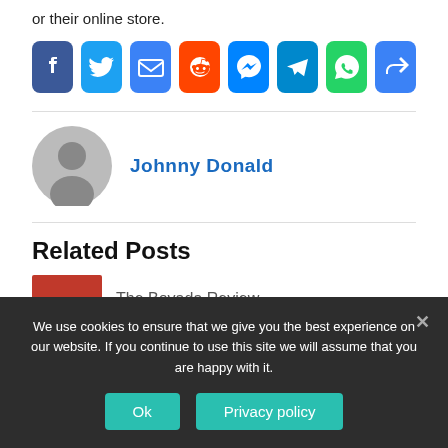or their online store.
[Figure (infographic): Row of social share buttons: Facebook, Twitter, Email, Reddit, Messenger, Telegram, WhatsApp, Share/More]
[Figure (photo): Author profile section with avatar placeholder and name Johnny Donald]
Related Posts
The Bovada Review
We use cookies to ensure that we give you the best experience on our website. If you continue to use this site we will assume that you are happy with it.